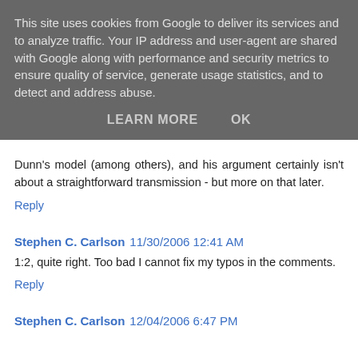This site uses cookies from Google to deliver its services and to analyze traffic. Your IP address and user-agent are shared with Google along with performance and security metrics to ensure quality of service, generate usage statistics, and to detect and address abuse.
LEARN MORE   OK
Dunn's model (among others), and his argument certainly isn't about a straightforward transmission - but more on that later.
Reply
Stephen C. Carlson 11/30/2006 12:41 AM
1:2, quite right. Too bad I cannot fix my typos in the comments.
Reply
Stephen C. Carlson 12/04/2006 6:47 PM